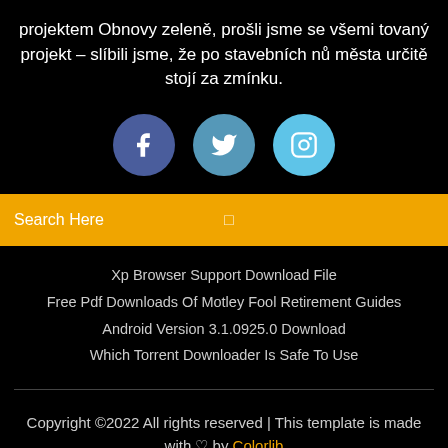projektem Obnovy zeleně, prošli jsme se všemi tovaný projekt – slíbili jsme, že po stavebních nů města určitě stojí za zmínku.
[Figure (illustration): Three social media icons: Facebook (dark blue circle with f), Twitter (medium blue circle with bird), Instagram (light blue circle with camera outline)]
Search Here
Xp Browser Support Download File
Free Pdf Downloads Of Motley Fool Retirement Guides
Android Version 3.1.0925.0 Download
Which Torrent Downloader Is Safe To Use
Copyright ©2022 All rights reserved | This template is made with ♡ by Colorlib